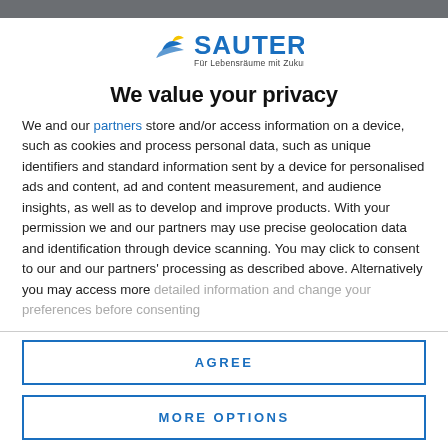[Figure (logo): Sauter logo with wave icon and tagline 'Für Lebensräume mit Zukunft.']
We value your privacy
We and our partners store and/or access information on a device, such as cookies and process personal data, such as unique identifiers and standard information sent by a device for personalised ads and content, ad and content measurement, and audience insights, as well as to develop and improve products. With your permission we and our partners may use precise geolocation data and identification through device scanning. You may click to consent to our and our partners' processing as described above. Alternatively you may access more detailed information and change your preferences before consenting
AGREE
MORE OPTIONS
buildings, research and educational facilities, hospitals,